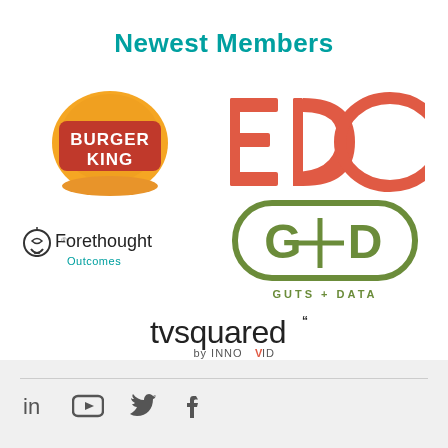Newest Members
[Figure (logo): Burger King logo - orange bun shape with red BURGER KING text]
[Figure (logo): EDO logo - large red/coral letters E D O]
[Figure (logo): Forethought Outcomes logo - lightbulb icon with text]
[Figure (logo): Guts + Data logo - olive green rounded rectangle with G+D initials]
[Figure (logo): tvsquared by Innovid logo]
LinkedIn YouTube Twitter Facebook social media icons